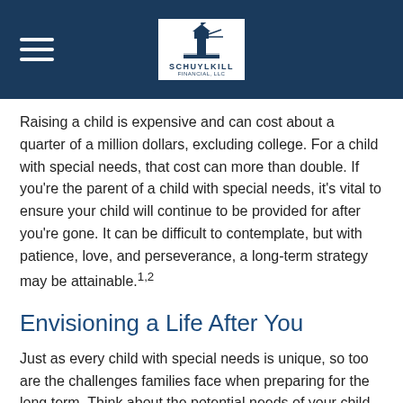Schuylkill Financial LLC logo and navigation header
Raising a child is expensive and can cost about a quarter of a million dollars, excluding college. For a child with special needs, that cost can more than double. If you're the parent of a child with special needs, it's vital to ensure your child will continue to be provided for after you're gone. It can be difficult to contemplate, but with patience, love, and perseverance, a long-term strategy may be attainable.1,2
Envisioning a Life After You
Just as every child with special needs is unique, so too are the challenges families face when preparing for the long term. Think about the potential needs of your child. Will they require daily custodial care? Ongoing medical treatments? Will your child live alone or in a group home?